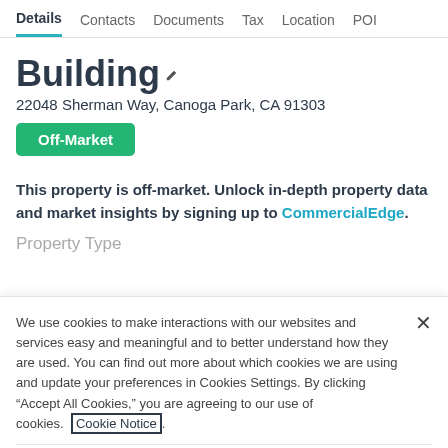Details  Contacts  Documents  Tax  Location  POI
Building
22048 Sherman Way, Canoga Park, CA 91303
Off-Market
This property is off-market. Unlock in-depth property data and market insights by signing up to CommercialEdge.
Property Type
We use cookies to make interactions with our websites and services easy and meaningful and to better understand how they are used. You can find out more about which cookies we are using and update your preferences in Cookies Settings. By clicking “Accept All Cookies,” you are agreeing to our use of cookies. Cookie Notice.
Cookies Settings   Accept All Cookies